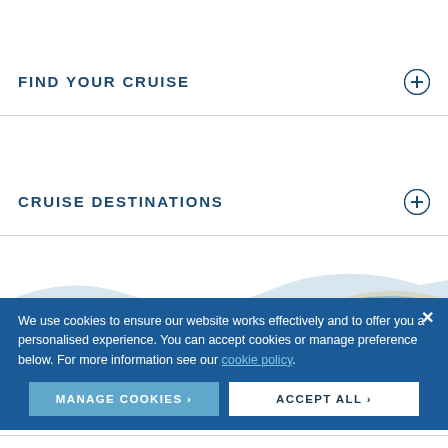FIND YOUR CRUISE
CRUISE DESTINATIONS
ABOUT US
MEDIA
[Figure (illustration): Wave decorative graphic in blue and beige/gold tones]
We use cookies to ensure our website works effectively and to offer you a personalised experience. You can accept cookies or manage preference below. For more information see our cookie policy.
MANAGE COOKIES >
ACCEPT ALL >